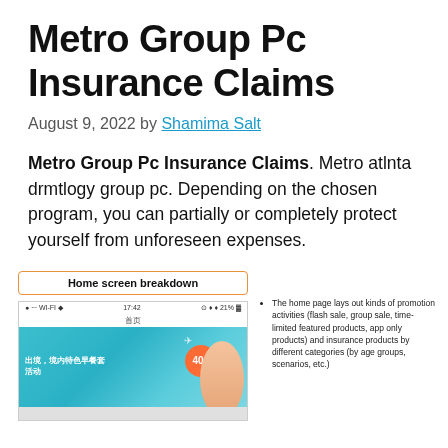Metro Group Pc Insurance Claims
August 9, 2022 by Shamima Salt
Metro Group Pc Insurance Claims. Metro atlnta drmtlogy group pc. Depending on the chosen program, you can partially or completely protect yourself from unforeseen expenses.
[Figure (screenshot): Mobile app screenshot showing home screen breakdown with a promotional banner featuring a woman and travel imagery, with status bar showing 17:42 and 21% battery]
The home page lays out kinds of promotion activities (flash sale, group sale, time-limited featured products, app only products) and insurance products by different categories (by age groups, scenarios, etc.)